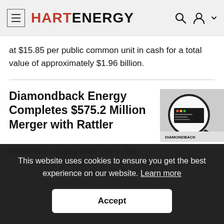HART ENERGY (navigation bar with hamburger menu, search icon, user icon)
at $15.85 per public common unit in cash for a total value of approximately $1.96 billion.
Diamondback Energy Completes $575.2 Million Merger with Rattler
[Figure (screenshot): Diamondback Energy logo/website screenshot showing a magnified view of the Diamondback interface]
This website uses cookies to ensure you get the best experience on our website. Learn more
Accept
Midstream, roughly three years after